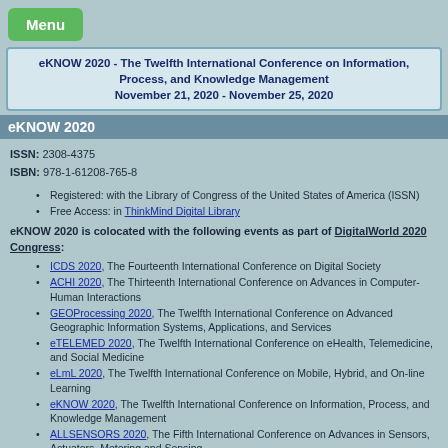Menu
eKNOW 2020 - The Twelfth International Conference on Information, Process, and Knowledge Management
November 21, 2020 - November 25, 2020
eKNOW 2020
ISSN: 2308-4375
ISBN: 978-1-61208-765-8
Registered: with the Library of Congress of the United States of America (ISSN)
Free Access: in ThinkMind Digital Library
eKNOW 2020 is colocated with the following events as part of DigitalWorld 2020 Congress:
ICDS 2020, The Fourteenth International Conference on Digital Society
ACHI 2020, The Thirteenth International Conference on Advances in Computer-Human Interactions
GEOProcessing 2020, The Twelfth International Conference on Advanced Geographic Information Systems, Applications, and Services
eTELEMED 2020, The Twelfth International Conference on eHealth, Telemedicine, and Social Medicine
eLmL 2020, The Twelfth International Conference on Mobile, Hybrid, and On-line Learning
eKNOW 2020, The Twelfth International Conference on Information, Process, and Knowledge Management
ALLSENSORS 2020, The Fifth International Conference on Advances in Sensors, Actuators, Metering and Sensing
SMART ACCESSIBILITY 2020, The Fifth International Conference on...